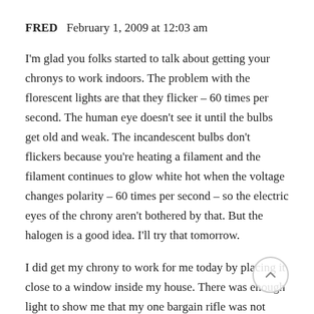FRED  February 1, 2009 at 12:03 am
I'm glad you folks started to talk about getting your chronys to work indoors. The problem with the florescent lights are that they flicker – 60 times per second. The human eye doesn't see it until the bulbs get old and weak. The incandescent bulbs don't flickers because you're heating a filament and the filament continues to glow white hot when the voltage changes polarity – 60 times per second – so the electric eyes of the chrony aren't bothered by that. But the halogen is a good idea. I'll try that tomorrow.
I did get my chrony to work for me today by placing it close to a window inside my house. There was enough light to show me that my one bargain rifle was not such a great bargain. I bought a RWS 350 at a super sports store that someone had returned. Every screw on it was loose so I imagine the original owner got frustrated that he couldn't put a group together and returned it. After tightening them all up, including the scope, I was getting very accurate results. Today I put it through the Chrony and found